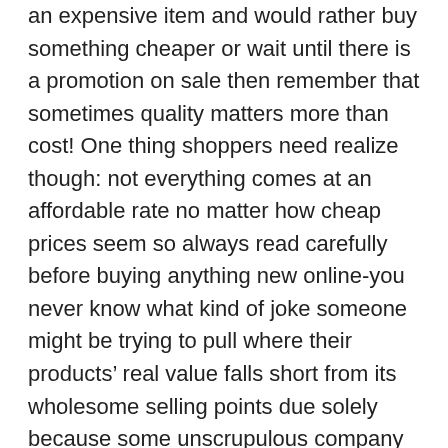an expensive item and would rather buy something cheaper or wait until there is a promotion on sale then remember that sometimes quality matters more than cost! One thing shoppers need realize though: not everything comes at an affordable rate no matter how cheap prices seem so always read carefully before buying anything new online-you never know what kind of joke someone might be trying to pull where their products' real value falls short from its wholesome selling points due solely because some unscrupulous company makes use low grade materials while claiming theirs are high end items made by professionals with years experience etcetera.
2. Brand
When it comes to fashion, there is a lot of debate